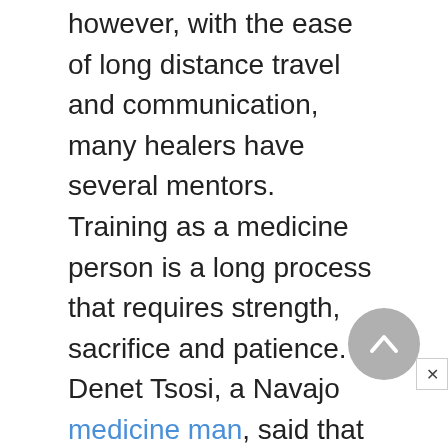however, with the ease of long distance travel and communication, many healers have several mentors. Training as a medicine person is a long process that requires strength, sacrifice and patience. Denet Tsosi, a Navajo medicine man, said that it took him six years to learn one of the chants.
Resources
BOOKS
Beck, P. V., and A. L. Walters. The